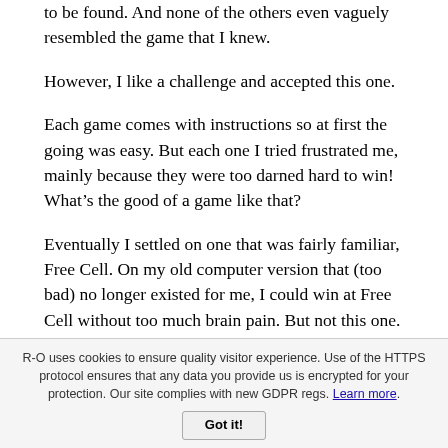to be found. And none of the others even vaguely resembled the game that I knew.
However, I like a challenge and accepted this one.
Each game comes with instructions so at first the going was easy. But each one I tried frustrated me, mainly because they were too darned hard to win! What’s the good of a game like that?
Eventually I settled on one that was fairly familiar, Free Cell. On my old computer version that (too bad) no longer existed for me, I could win at Free Cell without too much brain pain. But not this one.
Early in my tests I realized that if I kept my fingers off the keys for a minute, two spots would light up suggesting where one card could successfully move to another. Aha! That was the secret of winning, I thought. After losing several Free Cell games in a row, I decided to let the spots play the game for me, and sat back.
R-O uses cookies to ensure quality visitor experience. Use of the HTTPS protocol ensures that any data you provide us is encrypted for your protection. Our site complies with new GDPR regs. Learn more.